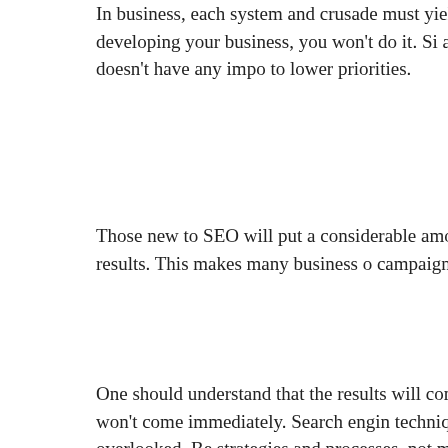In business, each system and crusade must yield some profit i.e. that won't help in developing your business, you won't do it. Since arriving, numerous people feel that SEO doesn't have any importance to lower priorities.
Those new to SEO will put a considerable amount of time and money, frustrated by the absence of results. This makes many business owners give up on their campaign and to stick it out for the long haul.
One should understand that the results will come in the long run if executed well. They just won't come immediately. Search engines are a technique for one's business and ought not to be overlooked. Be that as it may, it involves strategies and processes, not magic.
2. It Takes Too Much Time
Those new to SEO imagine that this sort of online marketing strategy process includes many steps and parts. While there are a ton of components to enhancing your site, they shouldn't be altogether done at the same time.